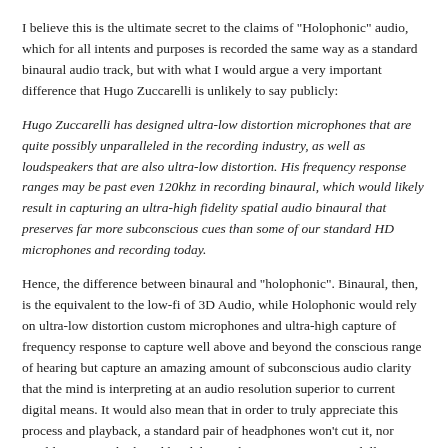I believe this is the ultimate secret to the claims of "Holophonic" audio, which for all intents and purposes is recorded the same way as a standard binaural audio track, but with what I would argue a very important difference that Hugo Zuccarelli is unlikely to say publicly:
Hugo Zuccarelli has designed ultra-low distortion microphones that are quite possibly unparalleled in the recording industry, as well as loudspeakers that are also ultra-low distortion. His frequency response ranges may be past even 120khz in recording binaural, which would likely result in capturing an ultra-high fidelity spatial audio binaural that preserves far more subconscious cues than some of our standard HD microphones and recording today.
Hence, the difference between binaural and "holophonic". Binaural, then, is the equivalent to the low-fi of 3D Audio, while Holophonic would rely on ultra-low distortion custom microphones and ultra-high capture of frequency response to capture well above and beyond the conscious range of hearing but capture an amazing amount of subconscious audio clarity that the mind is interpreting at an audio resolution superior to current digital means. It would also mean that in order to truly appreciate this process and playback, a standard pair of headphones won't cut it, nor would even your high-end headphones that range up to 1,000 dollars.